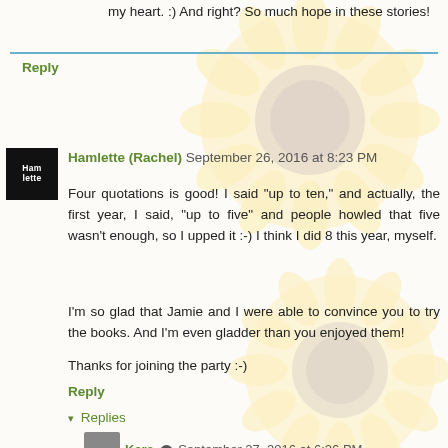my heart. :) And right? So much hope in these stories!
Reply
Hamlette (Rachel) September 26, 2016 at 8:23 PM
Four quotations is good! I said "up to ten," and actually, the first year, I said, "up to five" and people howled that five wasn't enough, so I upped it :-) I think I did 8 this year, myself.
I'm so glad that Jamie and I were able to convince you to try the books. And I'm even gladder than you enjoyed them!
Thanks for joining the party :-)
Reply
Replies
Kara September 27, 2016 at 6:26 PM